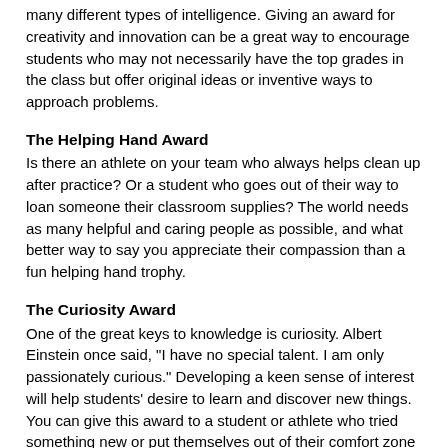many different types of intelligence. Giving an award for creativity and innovation can be a great way to encourage students who may not necessarily have the top grades in the class but offer original ideas or inventive ways to approach problems.
The Helping Hand Award
Is there an athlete on your team who always helps clean up after practice? Or a student who goes out of their way to loan someone their classroom supplies? The world needs as many helpful and caring people as possible, and what better way to say you appreciate their compassion than a fun helping hand trophy.
The Curiosity Award
One of the great keys to knowledge is curiosity. Albert Einstein once said, "I have no special talent. I am only passionately curious." Developing a keen sense of interest will help students' desire to learn and discover new things. You can give this award to a student or athlete who tried something new or put themselves out of their comfort zone this year.